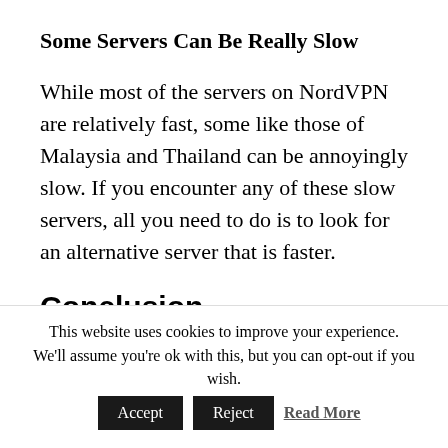Some Servers Can Be Really Slow
While most of the servers on NordVPN are relatively fast, some like those of Malaysia and Thailand can be annoyingly slow. If you encounter any of these slow servers, all you need to do is to look for an alternative server that is faster.
Conclusion
Would I recommend NordVPN? Yes, I most
This website uses cookies to improve your experience. We'll assume you're ok with this, but you can opt-out if you wish.
Accept  Reject  Read More